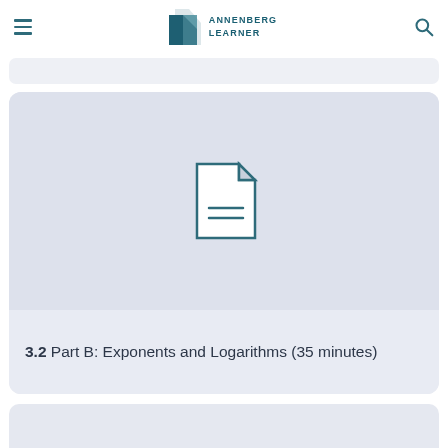Annenberg Learner
[Figure (illustration): Document/file icon with folded corner and two horizontal lines, on a light blue-gray card background]
3.2 Part B: Exponents and Logarithms (35 minutes)